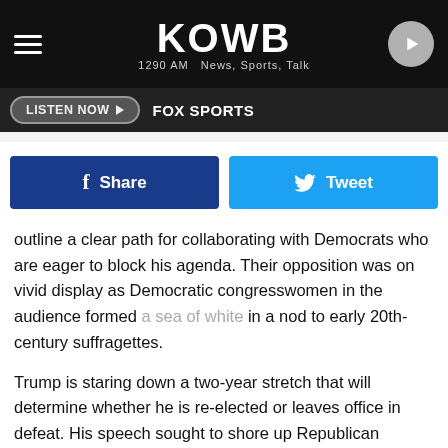KOWB 1290 AM News, Sports, Talk
[Figure (screenshot): Navigation bar with LISTEN NOW button and FOX SPORTS text]
[Figure (screenshot): Social sharing buttons: Share (Facebook) and Tweet (Twitter)]
outline a clear path for collaborating with Democrats who are eager to block his agenda. Their opposition was on vivid display as Democratic congresswomen in the audience formed a sea of white in a nod to early 20th-century suffragettes.
Trump is staring down a two-year stretch that will determine whether he is re-elected or leaves office in defeat. His speech sought to shore up Republican support that had eroded slightly during the recent government shutdown and previewed a fresh defense against Democrats as they ready